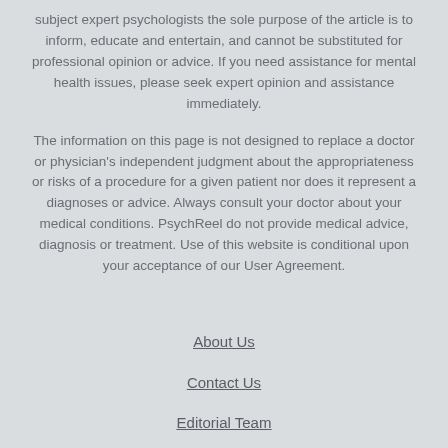subject expert psychologists the sole purpose of the article is to inform, educate and entertain, and cannot be substituted for professional opinion or advice. If you need assistance for mental health issues, please seek expert opinion and assistance immediately.
The information on this page is not designed to replace a doctor or physician's independent judgment about the appropriateness or risks of a procedure for a given patient nor does it represent a diagnoses or advice. Always consult your doctor about your medical conditions. PsychReel do not provide medical advice, diagnosis or treatment. Use of this website is conditional upon your acceptance of our User Agreement.
About Us
Contact Us
Editorial Team
Scientific Review Board